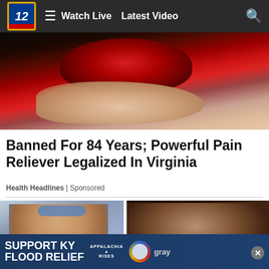Watch Live  Latest Video
[Figure (photo): Close-up photo of a red berry or fruit being held between fingertips against a dark background]
Banned For 84 Years; Powerful Pain Reliever Legalized In Virginia
Health Headlines | Sponsored
[Figure (photo): Two side-by-side thumbnail images: left shows a young man with blue sunglasses on his head; right shows a person in a dark setting]
[Figure (other): Ad banner: SUPPORT KY FLOOD RELIEF — Appalachia Rises logo, Gray television logo]